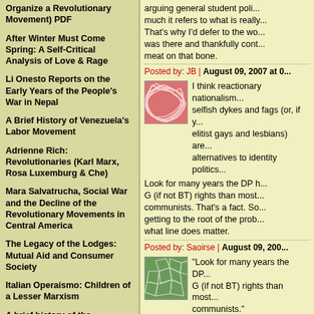Organize a Revolutionary Movement) PDF
After Winter Must Come Spring: A Self-Critical Analysis of Love & Rage
Li Onesto Reports on the Early Years of the People's War in Nepal
A Brief History of Venezuela's Labor Movement
Adrienne Rich: Revolutionaries (Karl Marx, Rosa Luxemburg & Che)
Mara Salvatrucha, Social War and the Decline of the Revolutionary Movements in Central America
The Legacy of the Lodges: Mutual Aid and Consumer Society
Italian Operaismo: Children of a Lesser Marxism
A brief history of the clenched-fist image
Short History of Revolutionary Communism in Britain
arguing general student poli... much it refers to what is really... That's why I'd defer to the wo... was there and thankfully cont... meat on that bone.
Posted by: JB | August 09, 2007 at 0...
[Figure (illustration): Red abstract illustration with interlocking curved lines on pink/red background]
I think reactionary nationalism... selfish dykes and fags (or, if y... elitist gays and lesbians) are... alternatives to identity politics...
Look for many years the DP h... G (if not BT) rights than most... communists. That's a fact. So... getting to the root of the prob... what line does matter.
Posted by: Saoirse | August 09, 200...
[Figure (illustration): Green abstract illustration with irregular polygon/cell pattern on green background]
"Look for many years the DP... G (if not BT) rights than most... communists."